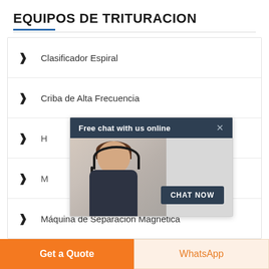EQUIPOS DE TRITURACION
> Clasificador Espiral
> Criba de Alta Frecuencia
> H...
> M...
> Máquina de Separación Magnética
[Figure (screenshot): Chat popup overlay with header 'Free chat with us online', close X button, agent photo with headset, and 'CHAT NOW' button]
RELATED POSTS
Get a Quote
WhatsApp